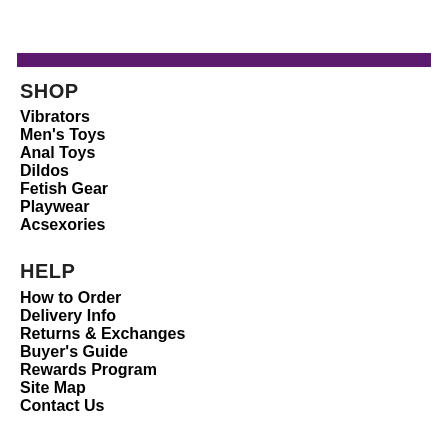SHOP
Vibrators
Men's Toys
Anal Toys
Dildos
Fetish Gear
Playwear
Acsexories
HELP
How to Order
Delivery Info
Returns & Exchanges
Buyer's Guide
Rewards Program
Site Map
Contact Us